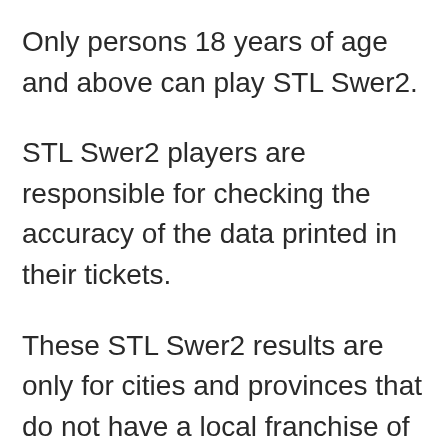Only persons 18 years of age and above can play STL Swer2.
STL Swer2 players are responsible for checking the accuracy of the data printed in their tickets.
These STL Swer2 results are only for cities and provinces that do not have a local franchise of STL.